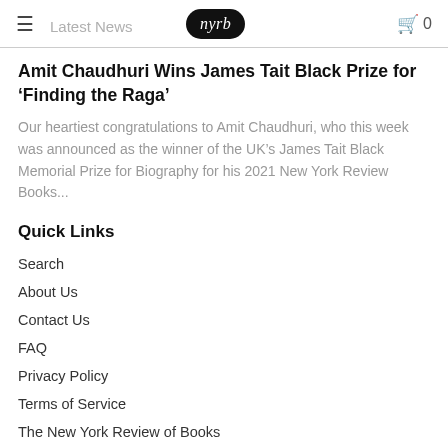Latest News | nyrb | 0
Amit Chaudhuri Wins James Tait Black Prize for ‘Finding the Raga’
Our heartiest congratulations to Amit Chaudhuri, who this week was announced as the winner of the UK’s James Tait Black Memorial Prize for Biography for his 2021 New York Review Books...
Quick Links
Search
About Us
Contact Us
FAQ
Privacy Policy
Terms of Service
The New York Review of Books